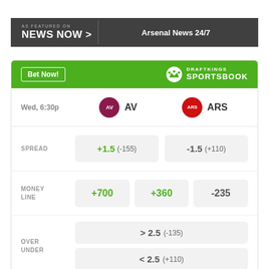[Figure (logo): News Now banner with 'AS FEATURED ON / NEWS NOW >' on dark grey background and 'Arsenal News 24/7' text on right]
|  | AV | ARS |
| --- | --- | --- |
| SPREAD | +1.5 (-155) | -1.5 (+110) |
| MONEY LINE | +700 | +360 | -235 |
| OVER UNDER | > 2.5 (-135) | < 2.5 (+110) |
Odds/Lines subject to change. See draftkings.com for details.